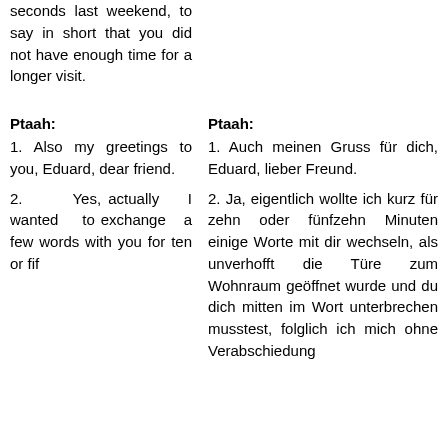seconds last weekend, to say in short that you did not have enough time for a longer visit.
Ptaah:
Ptaah:
1. Also my greetings to you, Eduard, dear friend.
1. Auch meinen Gruss für dich, Eduard, lieber Freund.
2. Yes, actually I wanted to exchange a few words with you for ten or fif...
2. Ja, eigentlich wollte ich kurz für zehn oder fünfzehn Minuten einige Worte mit dir wechseln, als unverhofft die Türe zum Wohnraum geöffnet wurde und du dich mitten im Wort unterbrechen musstest, folglich ich mich ohne Verabschiedung...